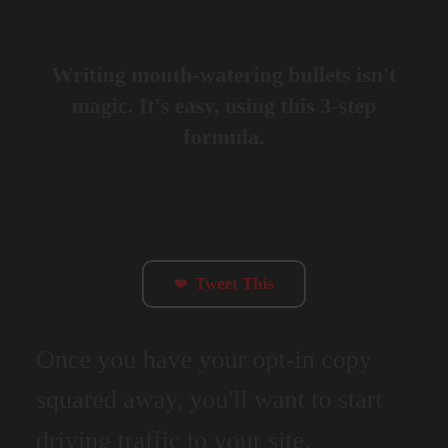Writing mouth-watering bullets isn't magic. It's easy, using this 3-step formula.
[Figure (other): A 'Tweet This' button with a bird/heart icon, dark border, rounded rectangle shape]
Once you have your opt-in copy squared away, you'll want to start driving traffic to your site.